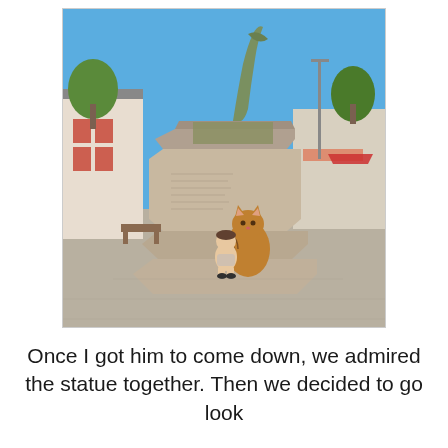[Figure (photo): Outdoor photo of a hexagonal stone monument/memorial with a bronze dolphin or fish statue on top against a clear blue sky. A tabby cat sits on the base of the monument next to a small baby doll figure, both appearing to look at the monument's inscribed plaque. Surrounding area shows buildings, trees, and a street.]
Once I got him to come down, we admired the statue together. Then we decided to go look